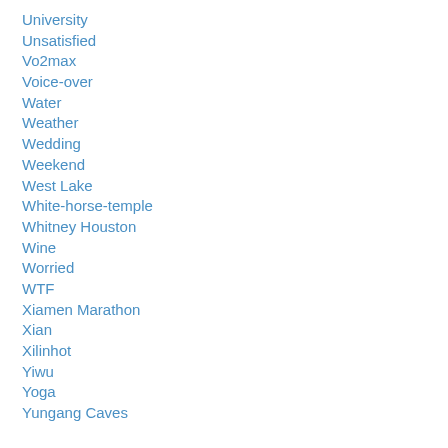University
Unsatisfied
Vo2max
Voice-over
Water
Weather
Wedding
Weekend
West Lake
White-horse-temple
Whitney Houston
Wine
Worried
WTF
Xiamen Marathon
Xian
Xilinhot
Yiwu
Yoga
Yungang Caves